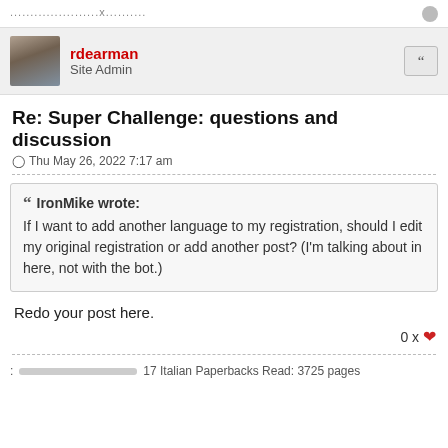......................x..........
rdearman
Site Admin
Re: Super Challenge: questions and discussion
Thu May 26, 2022 7:17 am
IronMike wrote: If I want to add another language to my registration, should I edit my original registration or add another post? (I'm talking about in here, not with the bot.)
Redo your post here.
0 x ❤
: 17 Italian Paperbacks Read: 3725 pages